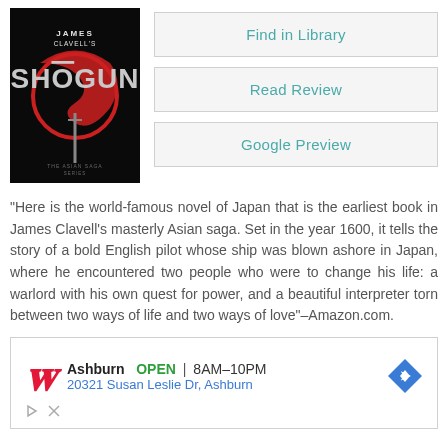[Figure (illustration): Book cover of James Clavell's Shogun — dark background with stylized red dragon/sword motif and title text]
Find in Library
Read Review
Google Preview
“Here is the world-famous novel of Japan that is the earliest book in James Clavell’s masterly Asian saga. Set in the year 1600, it tells the story of a bold English pilot whose ship was blown ashore in Japan, where he encountered two people who were to change his life: a warlord with his own quest for power, and a beautiful interpreter torn between two ways of life and two ways of love”–Amazon.com.
[Figure (infographic): Walgreens advertisement showing store location in Ashburn, OPEN 8AM-10PM, address 20321 Susan Leslie Dr, Ashburn with navigation arrow]